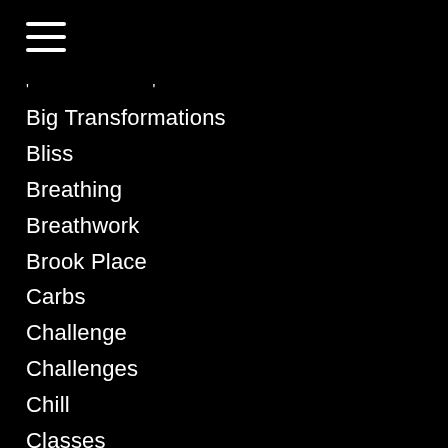[Figure (other): Hamburger menu icon — three horizontal white lines]
' '
Big Transformations
Bliss
Breathing
Breathwork
Brook Place
Carbs
Challenge
Challenges
Chill
Classes
Cold Water Immersion
Concentration
Destress
Diet
Dieting